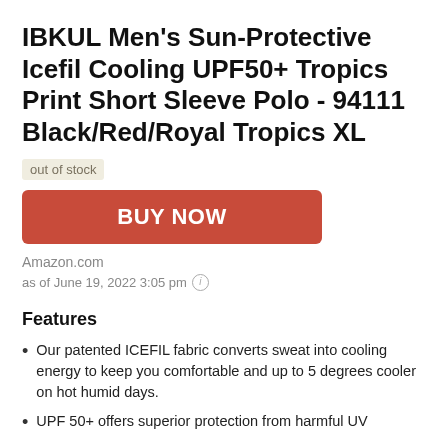IBKUL Men's Sun-Protective Icefil Cooling UPF50+ Tropics Print Short Sleeve Polo - 94111 Black/Red/Royal Tropics XL
out of stock
BUY NOW
Amazon.com
as of June 19, 2022 3:05 pm
Features
Our patented ICEFIL fabric converts sweat into cooling energy to keep you comfortable and up to 5 degrees cooler on hot humid days.
UPF 50+ offers superior protection from harmful UV